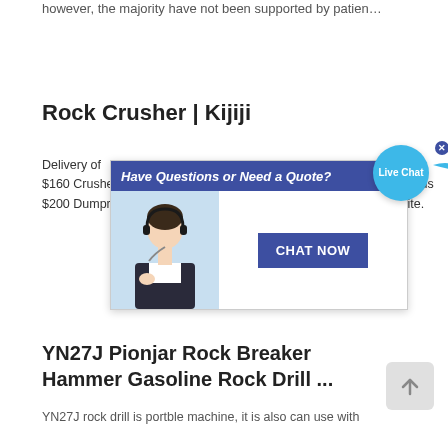however, the majority have not been supported by patien…
Rock Crusher | Kijiji
Delivery of ... lass A... 4tons $150 Crusher dust 4tons $160 Crushed rock 4tons $175 Topsoil 12yards $225 Sawdust 12yards $200 Dumpruns ... tipping fees ... quotes on other produ... ite.
[Figure (screenshot): Live chat popup with header 'Have Questions or Need a Quote?', a customer service representative image, and a 'CHAT NOW' button. Also shows a 'Live Chat' bubble in the top-right area.]
YN27J Pionjar Rock Breaker Hammer Gasoline Rock Drill ...
YN27J rock drill is portble machine, it is also can use with